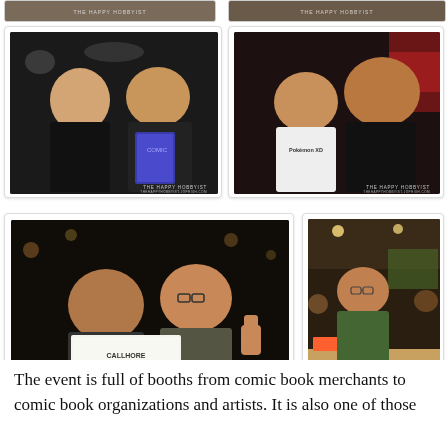[Figure (photo): Two photos cropped at top of page showing people at an event, watermarked THE HAPPY HOBBYIST]
[Figure (photo): Two people posing together at event, one holding a comic book/magazine. Watermark: THE HAPPY HOBBYIST]
[Figure (photo): Two men smiling closely together, one wearing a Pokemon XD shirt. Watermark: THE HAPPY HOBBYIST]
[Figure (photo): Two people holding up a CALLHORE comic book page / artwork and smiling, giving thumbs up. Watermark: THE HAPPY HOBBYIST]
[Figure (photo): Man in green t-shirt standing at event booth, other people visible in background. Watermark: THE HAPPY HOBBYIST]
The event is full of booths from comic book merchants to comic book organizations and artists. It is also one of those